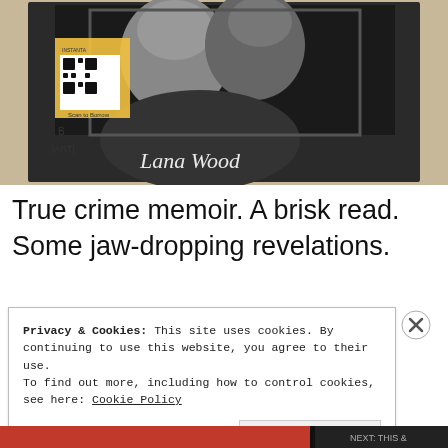[Figure (photo): Black and white photo of a book cover showing two women's faces, with 'Lana Wood' text visible. A library barcode/QR sticker is affixed to the book. The book appears to be a memoir.]
True crime memoir. A brisk read. Some jaw-dropping revelations.
Privacy & Cookies: This site uses cookies. By continuing to use this website, you agree to their use.
To find out more, including how to control cookies, see here: Cookie Policy
Close and accept